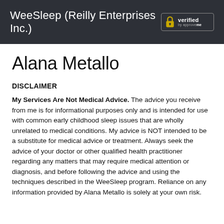WeeSleep (Reilly Enterprises Inc.)
Alana Metallo
DISCLAIMER
My Services Are Not Medical Advice. The advice you receive from me is for informational purposes only and is intended for use with common early childhood sleep issues that are wholly unrelated to medical conditions. My advice is NOT intended to be a substitute for medical advice or treatment. Always seek the advice of your doctor or other qualified health practitioner regarding any matters that may require medical attention or diagnosis, and before following the advice and using the techniques described in the WeeSleep program. Reliance on any information provided by Alana Metallo is solely at your own risk.